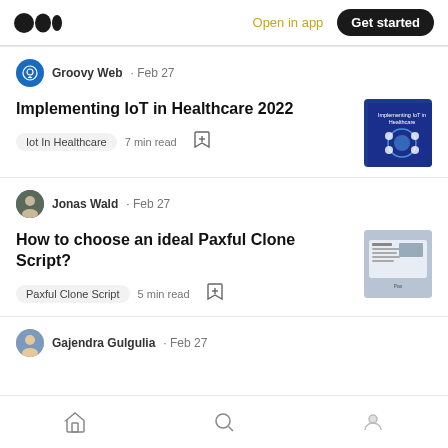Medium logo | Open in app | Get started
Groovy Web · Feb 27
Implementing IoT in Healthcare 2022
Iot In Healthcare   7 min read
Jonas Wald · Feb 27
How to choose an ideal Paxful Clone Script?
Paxful Clone Script   5 min read
Gajendra Gulgulia · Feb 27
Home | Search | Profile